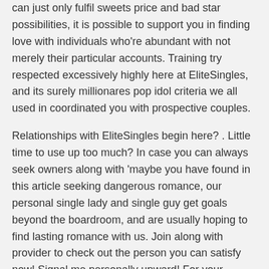can just only fulfil sweets price and bad star possibilities, it is possible to support you in finding love with individuals who're abundant with not merely their particular accounts. Training try respected excessively highly here at EliteSingles, and its surely millionares pop idol criteria we all used in coordinated you with prospective couples.
Relationships with EliteSingles begin here? . Little time to use up too much? In case you can always seek owners along with 'maybe you have found in this article seeking dangerous romance, our personal single lady and single guy get goals beyond the boardroom, and are usually hoping to find lasting romance with us. Join along with provider to check out the person you can satisfy now! Signal me personally upward! For your needs're expecting see well-off women or men close to you, get in on the state's greatest movie star dating internet